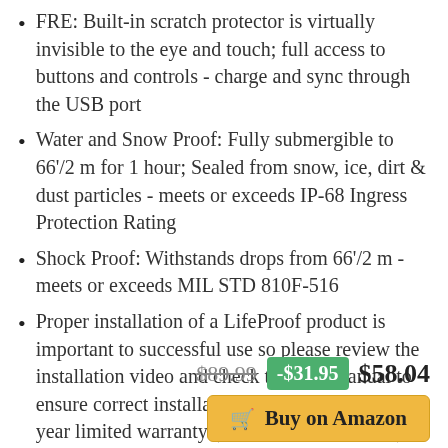FRE: Built-in scratch protector is virtually invisible to the eye and touch; full access to buttons and controls - charge and sync through the USB port
Water and Snow Proof: Fully submergible to 66'/2 m for 1 hour; Sealed from snow, ice, dirt & dust particles - meets or exceeds IP-68 Ingress Protection Rating
Shock Proof: Withstands drops from 66'/2 m - meets or exceeds MIL STD 810F-516
Proper installation of a LifeProof product is important to successful use so please review the installation video and check the user manual to ensure correct installation Includes LifeProof 1-year limited warranty (see website for details)
$89.99   -$31.95   $58.04
Buy on Amazon